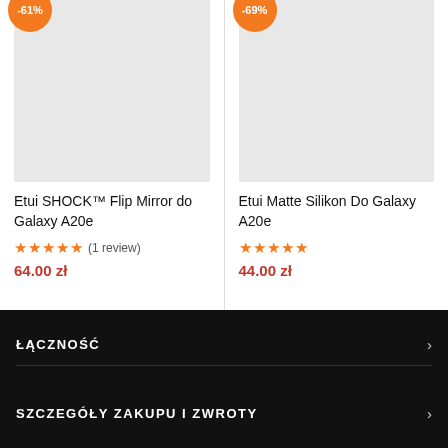[Figure (photo): Product image placeholder (light gray rectangle) for Etui SHOCK™ Flip Mirror do Galaxy A20e with -61% discount badge]
[Figure (photo): Product image placeholder (light gray rectangle) for Etui Matte Silikon Do Galaxy A20e with -69% discount badge]
Etui SHOCK™ Flip Mirror do Galaxy A20e
Etui Matte Silikon Do Galaxy A20e
★★★★★ (1 review)
★★★★★
64.00 zł
44.00 zł
ŁĄCZNOŚĆ
SZCZEGÓŁY ZAKUPU I ZWROTY